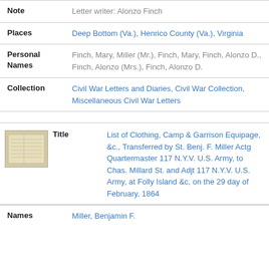| Field | Value |
| --- | --- |
| Note | Letter writer: Alonzo Finch |
| Places | Deep Bottom (Va.), Henrico County (Va.), Virginia |
| Personal Names | Finch, Mary, Miller (Mr.), Finch, Mary, Finch, Alonzo D., Finch, Alonzo (Mrs.), Finch, Alonzo D. |
| Collection | Civil War Letters and Diaries, Civil War Collection, Miscellaneous Civil War Letters |
| Title | List of Clothing, Camp & Garrison Equipage, &c., Transferred by St. Benj. F. Miller Actg Quartermaster 117 N.Y.V. U.S. Army, to Chas. Millard St. and Adjt 117 N.Y.V. U.S. Army, at Folly Island &c, on the 29 day of February, 1864 |
| Names | Miller, Benjamin F. |